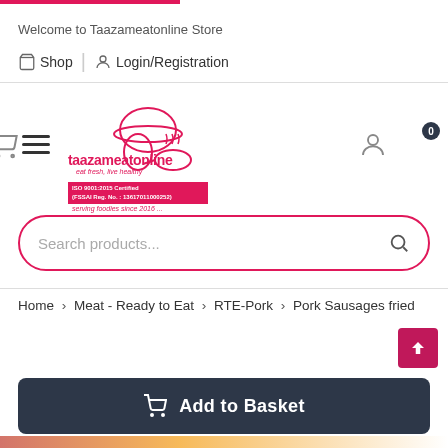Welcome to Taazameatonline Store
Shop | Login/Registration
[Figure (logo): Taazameatonline logo with chef illustration, ISO 9001:2015 Certified, FSSAI Reg. No.: 13617011000252, serving foodies since 2016 ...]
Search products...
Home > Meat - Ready to Eat > RTE-Pork > Pork Sausages fried
Add to Basket